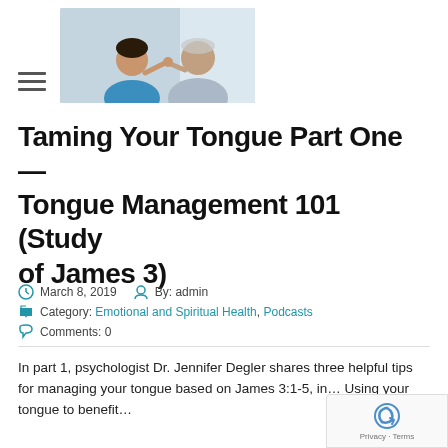[Figure (photo): Two people appearing to argue or have a heated conversation — an older man and a woman, against a light background.]
Taming Your Tongue Part One — Tongue Management 101 (Study of James 3)
March 8, 2019   By: admin
Category: Emotional and Spiritual Health, Podcasts
Comments: 0
In part 1, psychologist Dr. Jennifer Degler shares three helpful tips for managing your tongue based on James 3:1-5, in... Using your tongue to benefit...